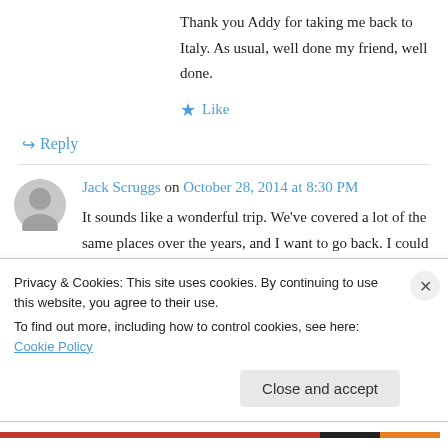Thank you Addy for taking me back to Italy. As usual, well done my friend, well done.
★ Like
↪ Reply
Jack Scruggs on October 28, 2014 at 8:30 PM
It sounds like a wonderful trip. We've covered a lot of the same places over the years, and I want to go back. I could go to Italy every year for a
Privacy & Cookies: This site uses cookies. By continuing to use this website, you agree to their use.
To find out more, including how to control cookies, see here: Cookie Policy
Close and accept